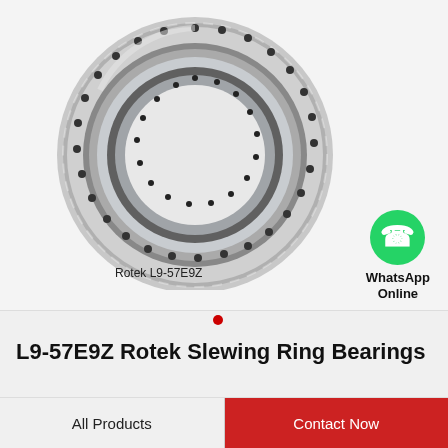[Figure (photo): Photo of a Rotek L9-57E9Z slewing ring bearing (large steel ring with bolt holes), with a WhatsApp Online icon in the lower right corner of the image area. Label 'Rotek L9-57E9Z' appears beneath the bearing.]
L9-57E9Z Rotek Slewing Ring Bearings
All Products
Contact Now